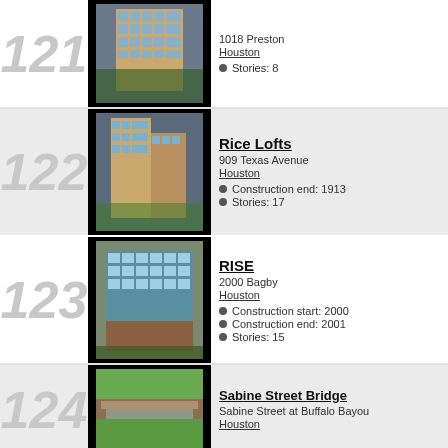121
[Figure (photo): Photo of building at 1018 Preston, Houston - tall multi-story commercial building]
1018 Preston
Houston
Stories: 8
122
[Figure (photo): Photo of Rice Lofts at 909 Texas Avenue, Houston]
Rice Lofts
909 Texas Avenue
Houston
Construction end: 1913
Stories: 17
123
[Figure (photo): Photo of RISE building at 2000 Bagby, Houston]
RISE
2000 Bagby
Houston
Construction start: 2000
Construction end: 2001
Stories: 15
124
[Figure (photo): Photo of Sabine Street Bridge at Buffalo Bayou, Houston]
Sabine Street Bridge
Sabine Street at Buffalo Bayou
Houston
125
[Figure (photo): Photo of Sabine Street Lofts]
Sabine Street Lofts